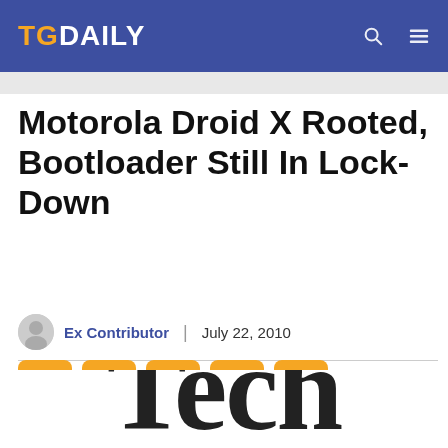TG DAILY
Motorola Droid X Rooted, Bootloader Still In Lock-Down
Ex Contributor | July 22, 2010
[Figure (illustration): Social sharing buttons: Facebook, WhatsApp, Twitter, LinkedIn, Email]
[Figure (photo): Partial view of large 'Tech' text in serif font, cropped at bottom of page]